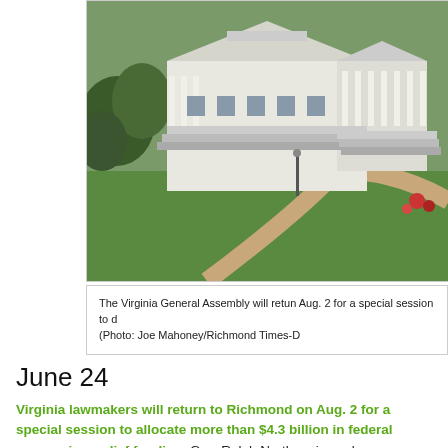[Figure (photo): Aerial view of the Virginia State Capitol building in Richmond, a white neoclassical building with columns, surrounded by green lawn and trees, with a curved pathway.]
The Virginia General Assembly will retun Aug. 2 for a special session to d (Photo: Joe Mahoney/Richmond Times-D
June 24
Virginia lawmakers will return to Richmond on Aug. 2 for a special session to allocate more than $4.3 billion in federal coronavirus relief funding. Gov. Ralph Northam issued a proclamation Wednesday summoning the General Assembly to return. Lawmakers will also fill judicial vacancies during the special session, in addition to distributing federal funds. “With more Virginians getting vaccinated every day, we are turning the